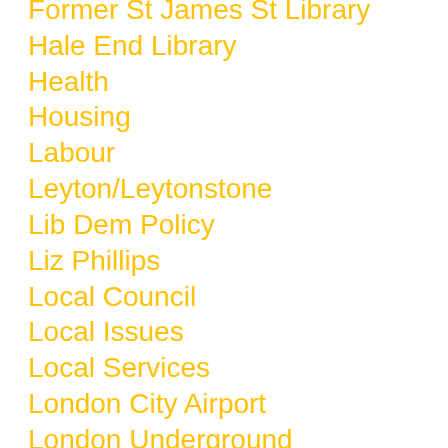Former St James St Library
Hale End Library
Health
Housing
Labour
Leyton/Leytonstone
Lib Dem Policy
Liz Phillips
Local Council
Local Issues
Local Services
London City Airport
London Underground
Mahmood Hussain
Management Boards
News
Parking
Patrick Smith
Peter Wheelbarrow